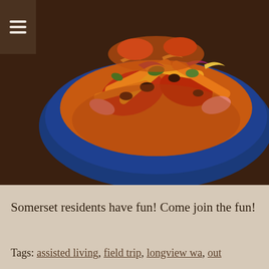[Figure (photo): A plate of food on a blue dish — appears to be a colorful stir-fry or nachos-style dish with orange, red, and green vegetables/toppings on a dark blue plate against a brown background]
Somerset residents have fun! Come join the fun!
Tags: assisted living, field trip, longview wa, out…